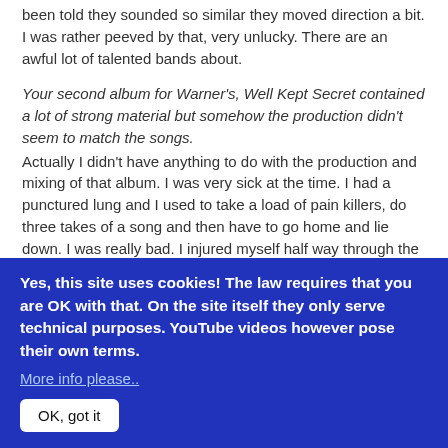been told they sounded so similar they moved direction a bit. I was rather peeved by that, very unlucky. There are an awful lot of talented bands about.
Your second album for Warner's, Well Kept Secret contained a lot of strong material but somehow the production didn't seem to match the songs.
Actually I didn't have anything to do with the production and mixing of that album. I was very sick at the time. I had a punctured lung and I used to take a load of pain killers, do three takes of a song and then have to go home and lie down. I was really bad. I injured myself half way through the sessions and my lung collapsed!
Did that lung injury effect your voice?
No, not in the long term. I was very lucky, extremely lucky
Yes, this site uses cookies! The law requires that you are OK with that. On the site itself they only serve technical purposes. YouTube videos however pose their own terms.
More info please..
OK, got it